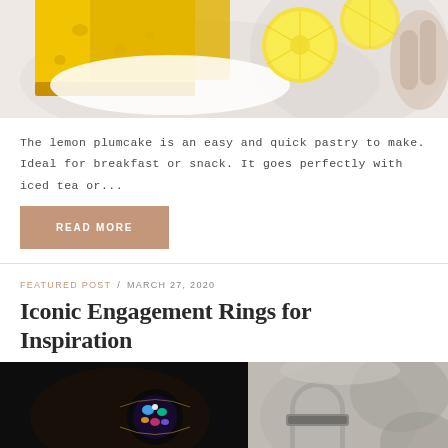[Figure (photo): Photo of lemon pound cake slices on a white plate with lemon slices, top-down view on a light fabric background]
The lemon plumcake is an easy and quick pastry to make. Ideal for breakfast or snack. It goes perfectly with iced tea or...
READ MORE
FEATURED POST / MARCH 27, 2020
Iconic Engagement Rings for Inspiration
[Figure (photo): Photo showing an engagement ring with colorful gemstones on the left side and a black and white photo of a ring on a finger on the right side]